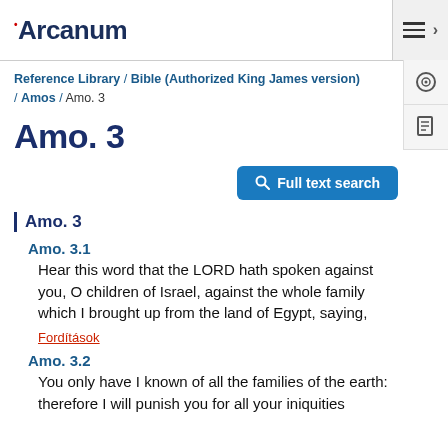Arcanum
Reference Library / Bible (Authorized King James version) / Amos / Amo. 3
Amo. 3
Full text search
Amo. 3
Amo. 3.1
Hear this word that the LORD hath spoken against you, O children of Israel, against the whole family which I brought up from the land of Egypt, saying,
Fordítások
Amo. 3.2
You only have I known of all the families of the earth: therefore I will punish you for all your iniquities